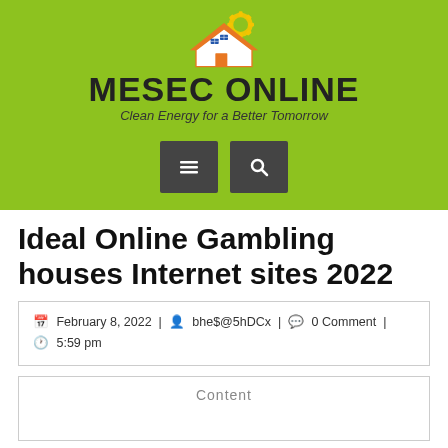[Figure (logo): MESEC ONLINE logo with solar panel house icon on lime green background, with tagline 'Clean Energy for a Better Tomorrow']
Ideal Online Gambling houses Internet sites 2022
February 8, 2022 | bhe$@5hDCx | 0 Comment | 5:59 pm
Content